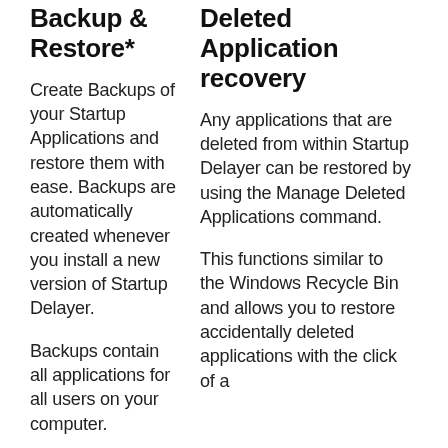Backup & Restore*
Create Backups of your Startup Applications and restore them with ease. Backups are automatically created whenever you install a new version of Startup Delayer.
Backups contain all applications for all users on your computer.
Deleted Application recovery
Any applications that are deleted from within Startup Delayer can be restored by using the Manage Deleted Applications command.
This functions similar to the Windows Recycle Bin and allows you to restore accidentally deleted applications with the click of a